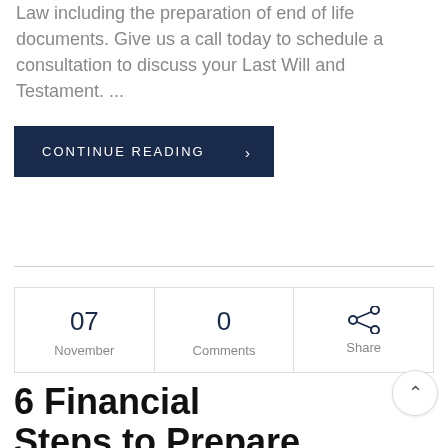Law including the preparation of end of life documents. Give us a call today to schedule a consultation to discuss your Last Will and Testament. ...
[Figure (other): Dark navy blue button with white uppercase text reading 'CONTINUE READING' and a right chevron arrow]
| 07 November | 0 Comments | Share |
| --- | --- | --- |
6 Financial Steps to Prepare